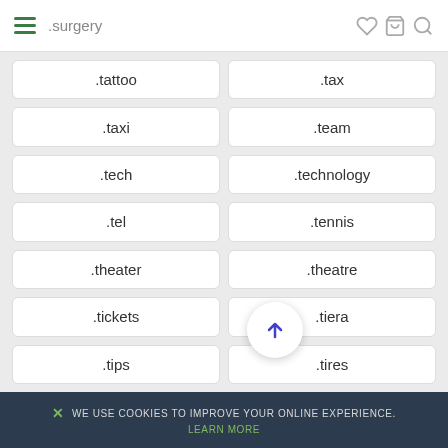.surgery | menu, wishlist, basket, search icons
.tattoo
.tax
.taxi
.team
.tech
.technology
.tel
.tennis
.theater
.theatre
.tickets
.tiera
.tips
.tires
WE USE COOKIES TO IMPROVE YOUR ONLINE EXPERIENCE. LEARN MORE